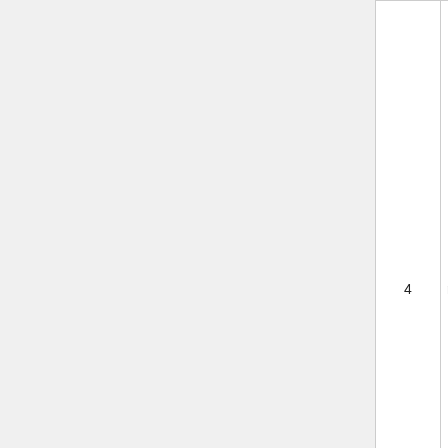| Bytes | Name | Data type | Description |
| --- | --- | --- | --- |
| 4 | nonce | uint32_t | The nonce used to generate this block... to allow variations of the header and compute different hashes |
| 1+ | txn_count | var_int | Number of transaction entries |
| ? | txns | tx[] | Block transactions in format of "tx" command |